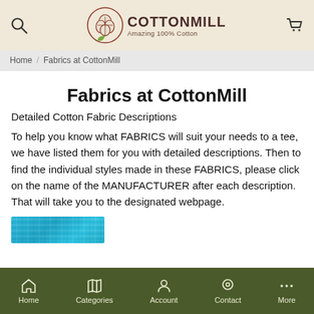CottonMill — Amazing 100% Cotton
Home / Fabrics at CottonMill
Fabrics at CottonMill
Detailed Cotton Fabric Descriptions
To help you know what FABRICS will suit your needs to a tee, we have listed them for you with detailed descriptions. Then to find the individual styles made in these FABRICS, please click on the name of the MANUFACTURER after each description. That will take you to the designated webpage.
[Figure (photo): Blue/teal cotton fabric texture swatch, partially visible at bottom of page]
Home | Categories | Account | Contact | More